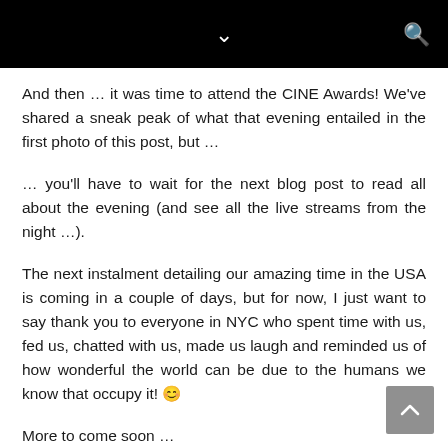And then … it was time to attend the CINE Awards! We've shared a sneak peak of what that evening entailed in the first photo of this post, but …
… you'll have to wait for the next blog post to read all about the evening (and see all the live streams from the night …).
The next instalment detailing our amazing time in the USA is coming in a couple of days, but for now, I just want to say thank you to everyone in NYC who spent time with us, fed us, chatted with us, made us laugh and reminded us of how wonderful the world can be due to the humans we know that occupy it! 🙂
More to come soon …